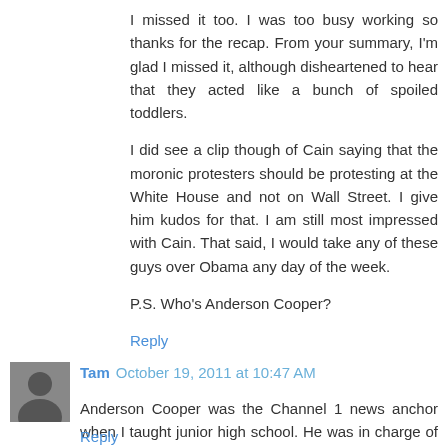I missed it too. I was too busy working so thanks for the recap. From your summary, I'm glad I missed it, although disheartened to hear that they acted like a bunch of spoiled toddlers.
I did see a clip though of Cain saying that the moronic protesters should be protesting at the White House and not on Wall Street. I give him kudos for that. I am still most impressed with Cain. That said, I would take any of these guys over Obama any day of the week.
P.S. Who's Anderson Cooper?
Reply
Tam October 19, 2011 at 10:47 AM
Anderson Cooper was the Channel 1 news anchor when I taught junior high school. He was in charge of brainwashing the middle grade public school kids and has since moved on to CNN.
Reply